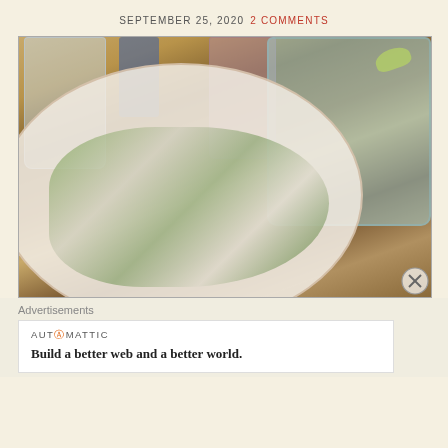SEPTEMBER 25, 2020  2 COMMENTS
[Figure (photo): Photo of drinks and a tostada-style food dish on a wooden table. Several glasses including water, a blue bottle, a pink cocktail, and a large blue margarita glass with lime. A white plate in the foreground holds food topped with shredded lettuce, crumbled cheese, and herbs.]
Advertisements
AUTOMATTIC
Build a better web and a better world.